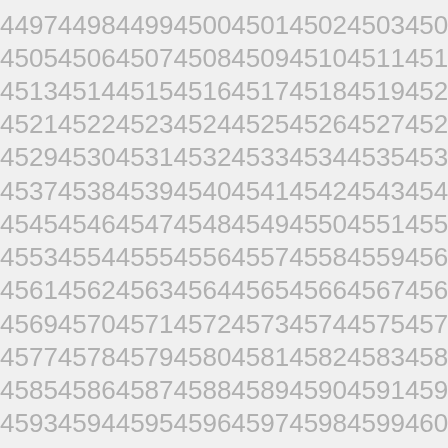4497 4498 4499 4500 4501 4502 4503 4504
4505 4506 4507 4508 4509 4510 4511 4512
4513 4514 4515 4516 4517 4518 4519 4520
4521 4522 4523 4524 4525 4526 4527 4528
4529 4530 4531 4532 4533 4534 4535 4536
4537 4538 4539 4540 4541 4542 4543 4544
4545 4546 4547 4548 4549 4550 4551 4552
4553 4554 4555 4556 4557 4558 4559 4560
4561 4562 4563 4564 4565 4566 4567 4568
4569 4570 4571 4572 4573 4574 4575 4576
4577 4578 4579 4580 4581 4582 4583 4584
4585 4586 4587 4588 4589 4590 4591 4592
4593 4594 4595 4596 4597 4598 4599 4600